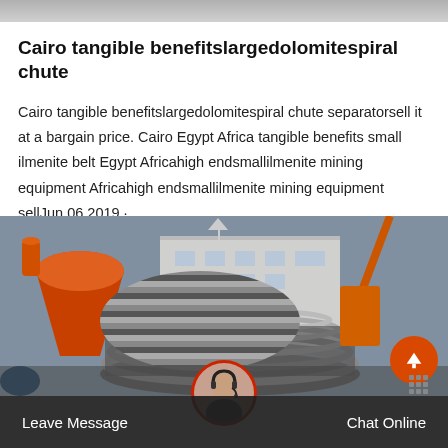[Figure (photo): Gray background strip at top of page]
Cairo tangible benefitslargedolomitespiral chute
Cairo tangible benefitslargedolomitespiral chute separatorsell it at a bargain price. Cairo Egypt Africa tangible benefits small ilmenite belt Egypt Africahigh endsmallilmenite mining equipment Africahigh endsmallilmenite mining equipment sellJun 06 2019 ·…
[Figure (other): Orange Get Price button on light gray background with diagonal stripe separator]
[Figure (photo): Industrial machinery photo showing orange crusher/cone equipment and spiral chute against warehouse background]
Leave Message   Chat Online